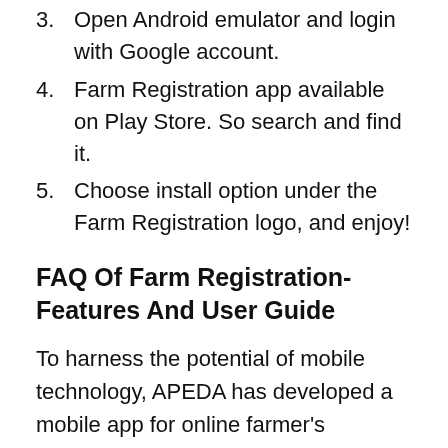3. Open Android emulator and login with Google account.
4. Farm Registration app available on Play Store. So search and find it.
5. Choose install option under the Farm Registration logo, and enjoy!
FAQ Of Farm Registration- Features And User Guide
To harness the potential of mobile technology, APEDA has developed a mobile app for online farmer's application, their Approval by State Government and